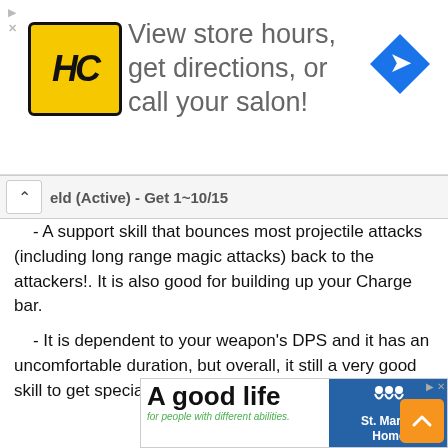[Figure (advertisement): Hair Club (HC) logo advertisement: View store hours, get directions, or call your salon! with navigation icon]
eld (Active) - Get 1~10/15
- A support skill that bounces most projectile attacks (including long range magic attacks) back to the attackers!. It is also good for building up your Charge bar.
    - It is dependent to your weapon's DPS and it has an uncomfortable duration, but overall, it still a very good skill to get specially for boss battles.
[Figure (advertisement): A good life for people with different abilities. St. Mary's Home advertisement with photo of smiling child in wheelchair]